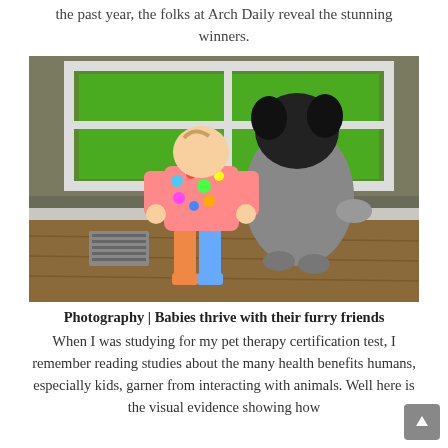the past year, the folks at Arch Daily reveal the stunning winners.
[Figure (photo): A toddler in a colorful butterfly/flower patterned onesie and a black and grey fluffy dog stand side by side at a window, looking outside at a green yard.]
Photography | Babies thrive with their furry friends
When I was studying for my pet therapy certification test, I remember reading studies about the many health benefits humans, especially kids, garner from interacting with animals. Well here is the visual evidence showing how